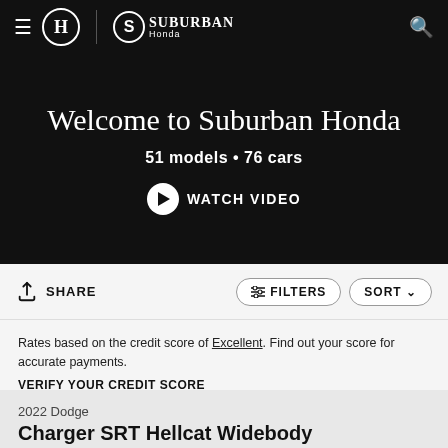Suburban Honda — navigation bar with hamburger menu, Honda logo, Suburban Honda logo, search icon
Welcome to Suburban Honda
51 models • 76 cars
WATCH VIDEO
SHARE
FILTERS
SORT
Rates based on the credit score of Excellent. Find out your score for accurate payments.
VERIFY YOUR CREDIT SCORE
2022 Dodge
Charger SRT Hellcat Widebody